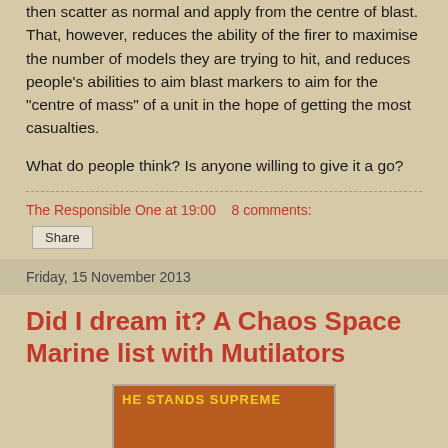then scatter as normal and apply from the centre of blast. That, however, reduces the ability of the firer to maximise the number of models they are trying to hit, and reduces people's abilities to aim blast markers to aim for the "centre of mass" of a unit in the hope of getting the most casualties.
What do people think? Is anyone willing to give it a go?
The Responsible One at 19:00   8 comments:
Share
Friday, 15 November 2013
Did I dream it? A Chaos Space Marine list with Mutilators
[Figure (photo): Book or DVD cover with orange/brown background, text 'HE STANDS SUPREME' at top in yellow, an '18' rating badge in the bottom left, and partial text 'Dr. TKo...' in yellow at bottom right.]